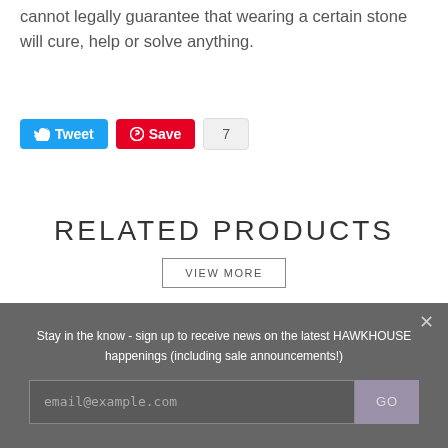cannot legally guarantee that wearing a certain stone will cure, help or solve anything.
[Figure (screenshot): Social media sharing buttons: Tweet (blue Twitter button), Save (red Pinterest button), and a count badge showing 7]
RELATED PRODUCTS
VIEW MORE
[Figure (photo): Product image strip showing necklaces hanging, and a partially visible second product image on the right]
Stay in the know - sign up to receive news on the latest HAWKHOUSE happenings (including sale announcements!)
email@example.com
GO